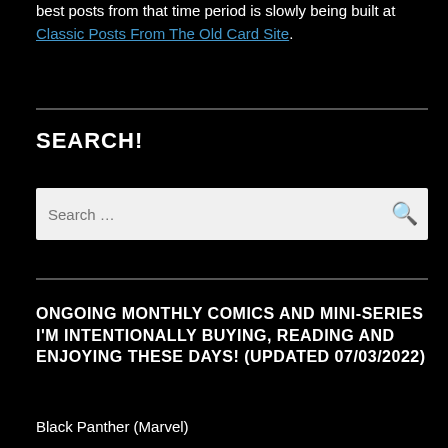best posts from that time period is slowly being built at Classic Posts From The Old Card Site.
SEARCH!
Search …
ONGOING MONTHLY COMICS AND MINI-SERIES I'M INTENTIONALLY BUYING, READING AND ENJOYING THESE DAYS! (UPDATED 07/03/2022)
Black Panther (Marvel)